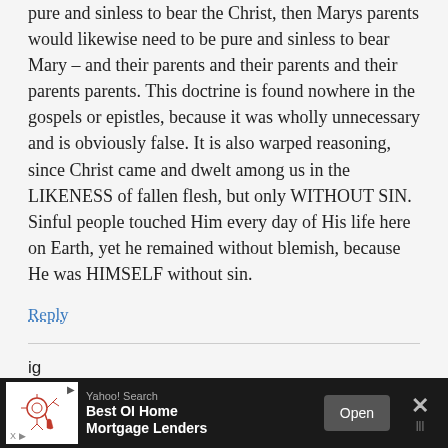pure and sinless to bear the Christ, then Marys parents would likewise need to be pure and sinless to bear Mary – and their parents and their parents and their parents parents. This doctrine is found nowhere in the gospels or epistles, because it was wholly unnecessary and is obviously false. It is also warped reasoning, since Christ came and dwelt among us in the LIKENESS of fallen flesh, but only WITHOUT SIN. Sinful people touched Him every day of His life here on Earth, yet he remained without blemish, because He was HIMSELF without sin.
Reply
ig
September 25, 2018
I think you will find that in Israel,
[Figure (screenshot): Advertisement bar at the bottom: Yahoo! Search ad for 'Best OI Home Mortgage Lenders' with an Open button and close X.]